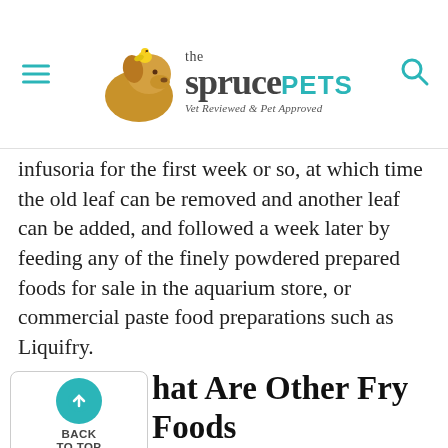the spruce PETS — Vet Reviewed & Pet Approved
infusoria for the first week or so, at which time the old leaf can be removed and another leaf can be added, and followed a week later by feeding any of the finely powdered prepared foods for sale in the aquarium store, or commercial paste food preparations such as Liquifry.
What Are Other Fry Foods That Can Be Used?
Later on, the fry may be fed the yolk of a